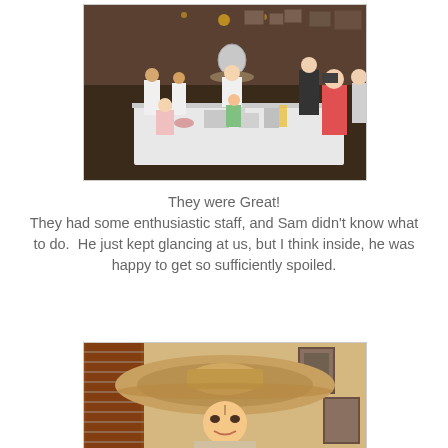[Figure (photo): Indoor restaurant birthday party scene: several staff members in white shirts standing around a table with children seated. A man in the center wears a large sombrero hat and holds a silver balloon. Adults sit at the right side of the table. The room has decorative items on the walls and warm lighting.]
They were Great!
They had some enthusiastic staff, and Sam didn't know what to do.  He just kept glancing at us, but I think inside, he was happy to get so sufficiently spoiled.
[Figure (photo): Close-up photo of a young boy wearing an oversized large tan sombrero hat, smiling at the camera. Behind him is a brick wall and restaurant interior with framed pictures on the wall.]